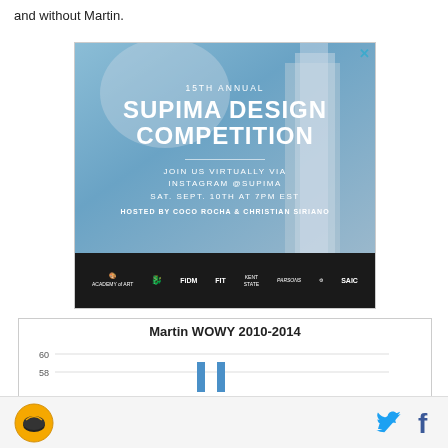and without Martin.
[Figure (photo): Advertisement for the 15th Annual Supima Design Competition. Blue sky background with a building and flag. Text reads: '15TH ANNUAL SUPIMA DESIGN COMPETITION — JOIN US VIRTUALLY VIA INSTAGRAM @SUPIMA SAT. SEPT. 10TH AT 7PM EST — HOSTED BY COCO ROCHA & CHRISTIAN SIRIANO'. Footer shows logos of Academy of Art, Drexel University, FIDM, FIT, Kent State, Parsons, and SAIC.]
[Figure (line-chart): Partial line chart titled 'Martin WOWY 2010-2014' showing values near 58-60 range, with two blue vertical bar markers visible near center.]
Footer with logo and social media icons (Twitter and Facebook)